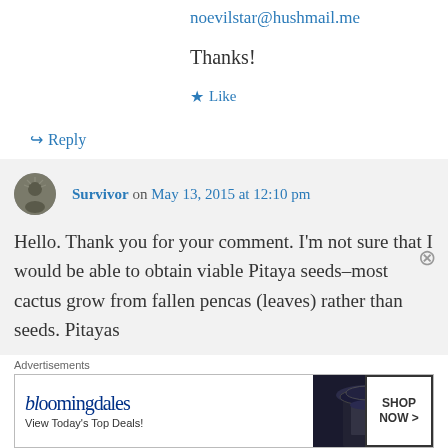noevilstar@hushmail.me
Thanks!
★ Like
↳ Reply
Survivor on May 13, 2015 at 12:10 pm
Hello. Thank you for your comment. I'm not sure that I would be able to obtain viable Pitaya seeds–most cactus grow from fallen pencas (leaves) rather than seeds. Pitayas
Advertisements
[Figure (other): Bloomingdale's advertisement banner: 'bloomingdales / View Today's Top Deals!' with a woman in a hat and 'SHOP NOW >' button]